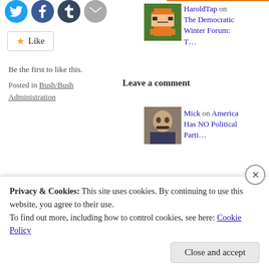[Figure (other): Social sharing icons: Twitter (blue circle), Facebook (blue circle), Tumblr (dark circle), Email (grey circle)]
Like
Be the first to like this.
Posted in Bush/Bush Administration
Leave a comment
[Figure (photo): HaroldTap avatar - pixel art character on green background]
HaroldTap on The Democratic Winter Forum: T…
[Figure (photo): Mick avatar - black and white photo of man with mustache]
Mick on America Has NO Political Parti…
[Figure (photo): Steve Herzfeld avatar - circular photo with American flag background]
Steve Herzfeld on America Has NO Political Parti…
Privacy & Cookies: This site uses cookies. By continuing to use this website, you agree to their use.
To find out more, including how to control cookies, see here: Cookie Policy
Close and accept